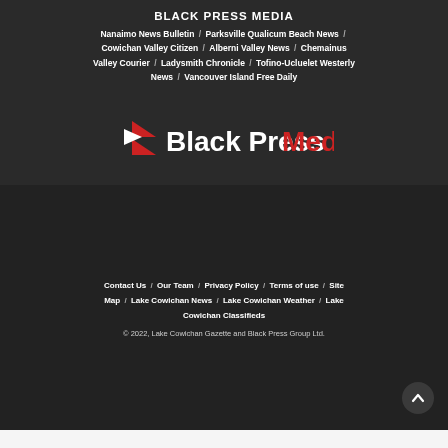BLACK PRESS MEDIA
Nanaimo News Bulletin / Parksville Qualicum Beach News / Cowichan Valley Citizen / Alberni Valley News / Chemainus Valley Courier / Ladysmith Chronicle / Tofino-Ucluelet Westerly News / Vancouver Island Free Daily
[Figure (logo): Black Press Media logo with red arrow/chevron icon and text 'Black Press Media' in white and red]
Contact Us / Our Team / Privacy Policy / Terms of use / Site Map / Lake Cowichan News / Lake Cowichan Weather / Lake Cowichan Classifieds
© 2022, Lake Cowichan Gazette and Black Press Group Ltd.